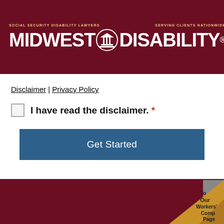MIDWEST DISABILITY® — SOCIAL SECURITY DISABILITY LAWYERS — SERVING CLIENTS NATIONWIDE
Disclaimer | Privacy Policy
I have read the disclaimer. *
Get Started
[Figure (screenshot): Page curl advertisement in lower-right corner showing text: To Our Workers' Comp Page]